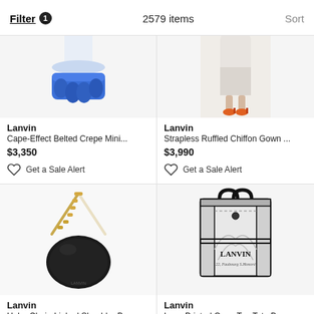Filter 1   2579 items   Sort
[Figure (photo): Lanvin Cape-Effect Belted Crepe Mini dress with blue ruffled hem on white background]
Lanvin
Cape-Effect Belted Crepe Mini...
$3,350
Get a Sale Alert
[Figure (photo): Lanvin Strapless Ruffled Chiffon Gown with model wearing orange heels]
Lanvin
Strapless Ruffled Chiffon Gown ...
$3,990
Get a Sale Alert
[Figure (photo): Lanvin Hobo Chain-Linked Shoulder Bag in black leather with gold chain strap]
Lanvin
Hobo Chain-Linked Shoulder B...
$764.83  $1,062
[Figure (photo): Lanvin Logo Printed Open Top Tote Bag in white/grey with black handles and LANVIN logo]
Lanvin
Logo Printed Open Top Tote Bag
$1,131  $1,491